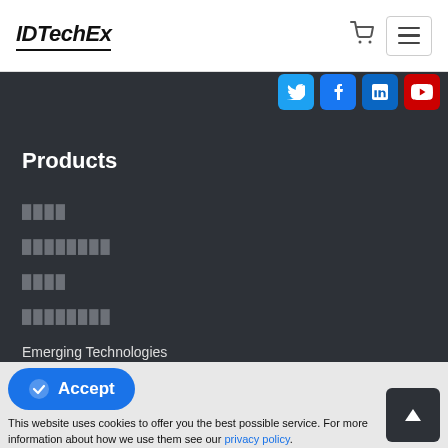IDTechEx
[Figure (screenshot): Navigation bar with IDTechEx logo, shopping cart icon, and hamburger menu button]
[Figure (screenshot): Social media icons bar with Twitter, Facebook, LinkedIn, YouTube buttons on dark background]
Products
████
████████
████
████████
Emerging Technologies
This website uses cookies to offer you the best possible service. For more information about how we use them see our privacy policy.